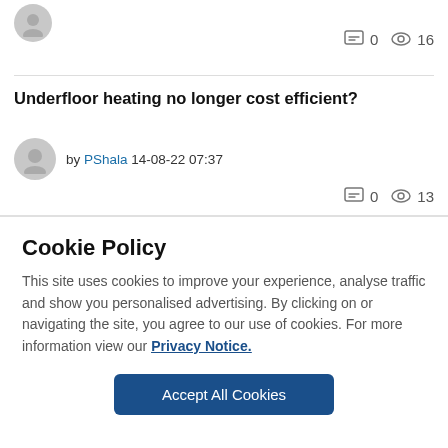[Figure (other): User avatar placeholder (gray circle with person silhouette) at top left]
0  16
Underfloor heating no longer cost efficient?
by PShala 14-08-22 07:37
0  13
Cookie Policy
This site uses cookies to improve your experience, analyse traffic and show you personalised advertising. By clicking on or navigating the site, you agree to our use of cookies. For more information view our Privacy Notice.
Accept All Cookies